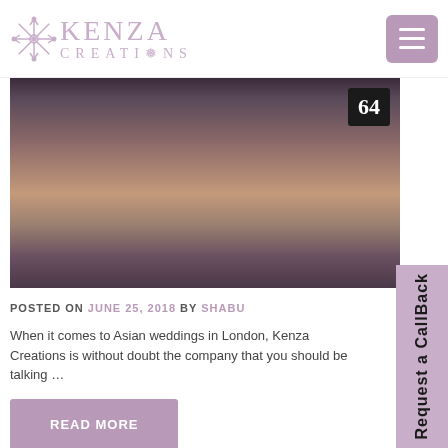KENZA CREATIONS
[Figure (photo): Wedding reception table setup with salmon/peach folded napkins, place settings, a tall candle centerpiece, and table number 64 sign on a decorative tablecloth]
POSTED ON JUNE 25, 2018 BY SHABU
When it comes to Asian weddings in London, Kenza Creations is without doubt the company that you should be talking …
READ MORE
Request a CallBack